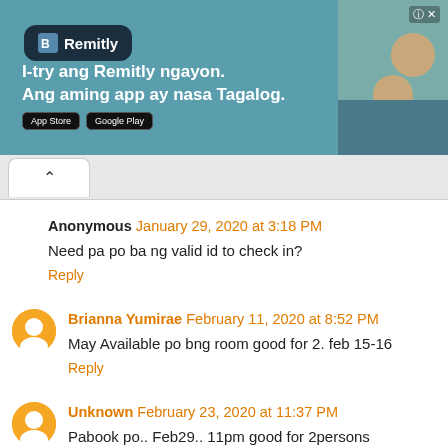[Figure (other): Remitly advertisement banner with logo, tagline 'I-try ang Remitly ngayon. Ang aming app ay nasa Tagalog.' and app store download buttons, with photo of two smiling people on the right.]
Anonymous January 29, 2020 at 3:18 PM
Need pa po ba ng valid id to check in?
Reply
Brianna Yumirae February 11, 2020 at 8:52 PM
May Available po bng room good for 2. feb 15-16
Reply
Unknown February 23, 2020 at 11:37 PM
Pabook po.. Feb29.. 11pm good for 2persons
Reply